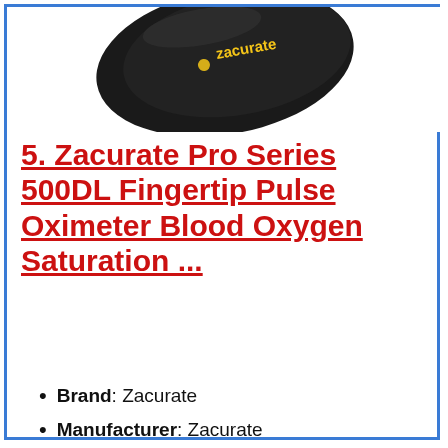[Figure (photo): Partial photo of a Zacurate fingertip pulse oximeter device (black, with yellow Zacurate logo visible), cropped at top of page]
5. Zacurate Pro Series 500DL Fingertip Pulse Oximeter Blood Oxygen Saturation ...
Brand: Zacurate
Manufacturer: Zacurate
Color: Royal Black